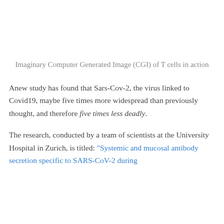Imaginary Computer Generated Image (CGI) of T cells in action
Anew study has found that Sars-Cov-2, the virus linked to Covid19, maybe five times more widespread than previously thought, and therefore five times less deadly.
The research, conducted by a team of scientists at the University Hospital in Zurich, is titled: “Systemic and mucosal antibody secretion specific to SARS-CoV-2 during